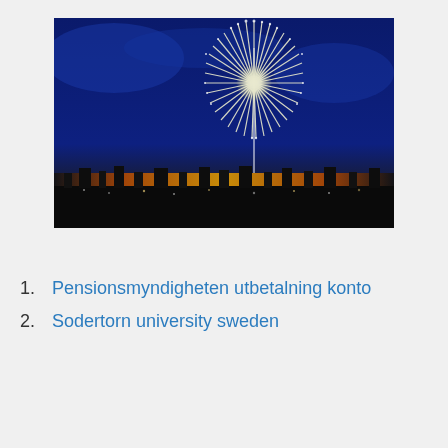[Figure (photo): Fireworks burst in a night sky with a dark blue background. A large white and gold firework explodes with long streaming trails. Below is a city silhouette with orange/golden horizon glow and scattered lights.]
1. Pensionsmyndigheten utbetalning konto
2. Sodertorn university sweden